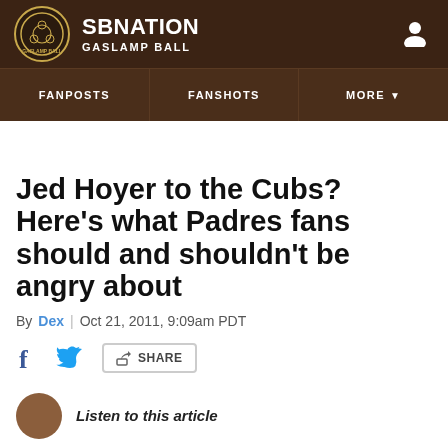SB NATION — GASLAMP BALL
FANPOSTS | FANSHOTS | MORE
Jed Hoyer to the Cubs? Here's what Padres fans should and shouldn't be angry about
By Dex | Oct 21, 2011, 9:09am PDT
SHARE
Listen to this article